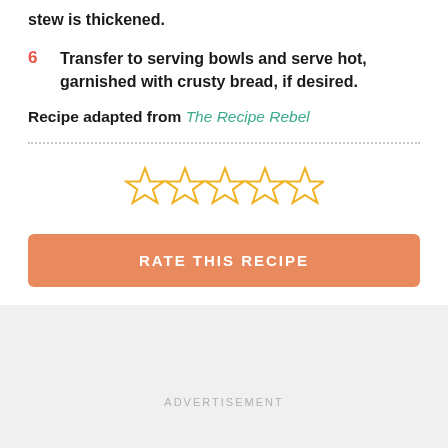stew is thickened.
6  Transfer to serving bowls and serve hot, garnished with crusty bread, if desired.
Recipe adapted from The Recipe Rebel
[Figure (other): Five empty star rating icons in a row]
RATE THIS RECIPE
ADVERTISEMENT